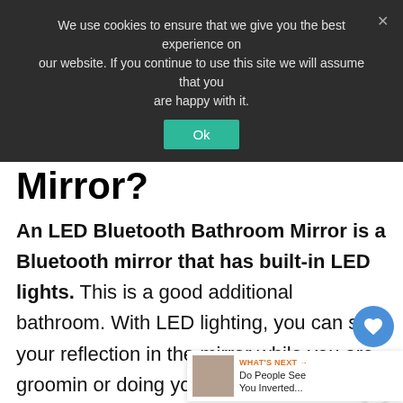We use cookies to ensure that we give you the best experience on our website. If you continue to use this site we will assume that you are happy with it.
Mirror?
An LED Bluetooth Bathroom Mirror is a Bluetooth mirror that has built-in LED lights. This is a good additional bathroom. With LED lighting, you can see your reflection in the mirror while you are grooming or doing your makeup. The adjustable brightness and color temperature of the LED lights allow you to see the colors and hues of the cosmetics that you are using. Moreover, LED Bluetooth bathroom mirrors are ideal for dark rooms that need additional lighting.